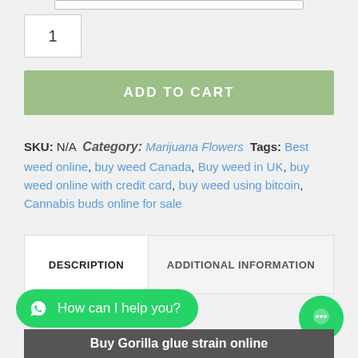1
ADD TO CART
SKU: N/A  Category: Marijuana Flowers  Tags: Best weed online, buy weed Canada, Buy weed in UK, buy weed online with credit card, buy weed using bitcoin, Cannabis buds online for sale
| DESCRIPTION | ADDITIONAL INFORMATION |
| --- | --- |
How can I help you?
Buy Gorilla glue strain online